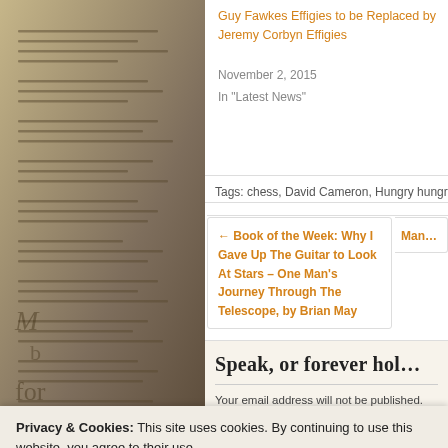[Figure (photo): Newspaper pages photograph background on left side of page]
Guy Fawkes Effigies to be Replaced by Jeremy Corbyn Effigies
November 2, 2015
In "Latest News"
Tags: chess, David Cameron, Hungry hungry hippos, Jeremy Corb…
← Book of the Week: Why I Gave Up The Guitar to Look At Stars – One Man's Journey Through The Telescope, by Brian May
Man…
Speak, or forever hol…
Your email address will not be published. Required fields a…
Privacy & Cookies: This site uses cookies. By continuing to use this website, you agree to their use.
To find out more, including how to control cookies, see here: Cookie Policy
Close and accept